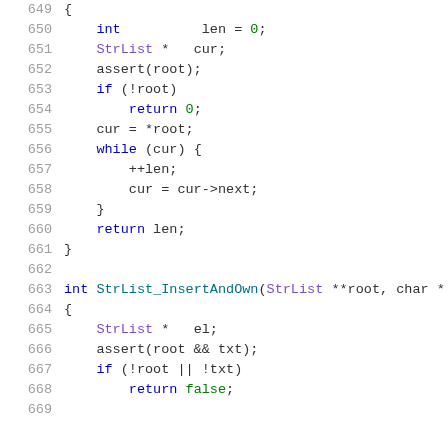Code listing lines 649-669 showing C functions StrList_len and StrList_InsertAndOwn